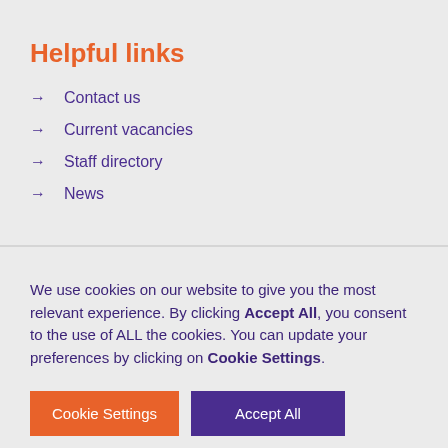Helpful links
Contact us
Current vacancies
Staff directory
News
We use cookies on our website to give you the most relevant experience. By clicking Accept All, you consent to the use of ALL the cookies. You can update your preferences by clicking on Cookie Settings.